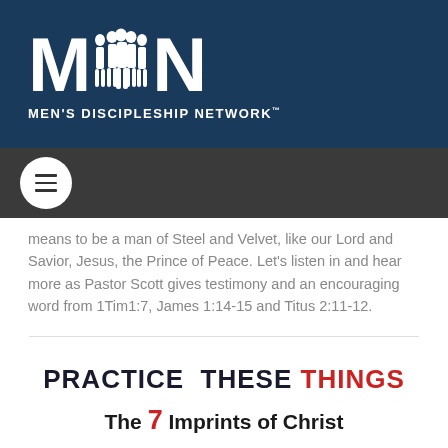[Figure (logo): Men's Discipleship Network logo with MDN letters and silhouettes of men, white on dark navy background, with tagline MEN'S DISCIPLESHIP NETWORK]
[Figure (other): Dark grey navigation bar with white circular hamburger menu button]
means to be a man of Steel and Velvet, like our Lord and Savior, Jesus, the Prince of Peace. Let's listen in and hear more as Pastor Scott gives testimony and an encouraging word from 1Tim1:7, James 1:14-15 and Titus 2:11-12.
PRACTICE THESE THINGS
The 7 Imprints of Christ